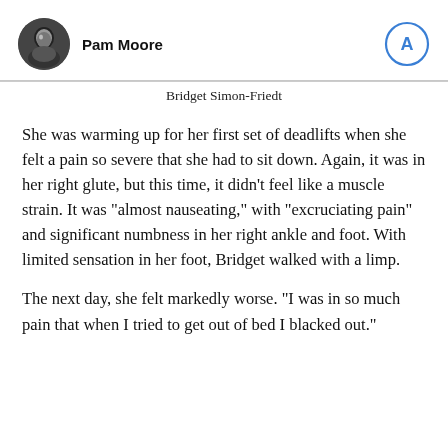Pam Moore
Bridget Simon-Friedt
She was warming up for her first set of deadlifts when she felt a pain so severe that she had to sit down. Again, it was in her right glute, but this time, it didn’t feel like a muscle strain. It was “almost nauseating,” with “excruciating pain” and significant numbness in her right ankle and foot. With limited sensation in her foot, Bridget walked with a limp.
The next day, she felt markedly worse. “I was in so much pain that when I tried to get out of bed I blacked out.”